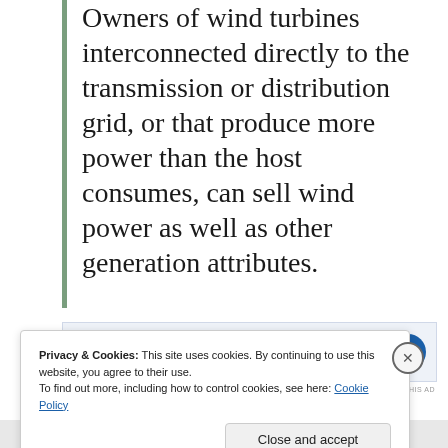Owners of wind turbines interconnected directly to the transmission or distribution grid, or that produce more power than the host consumes, can sell wind power as well as other generation attributes.
[Figure (screenshot): Advertisement banner with text 'Post on the go.' and 'GET THE APP' button with WordPress logo]
Privacy & Cookies: This site uses cookies. By continuing to use this website, you agree to their use. To find out more, including how to control cookies, see here: Cookie Policy
Close and accept